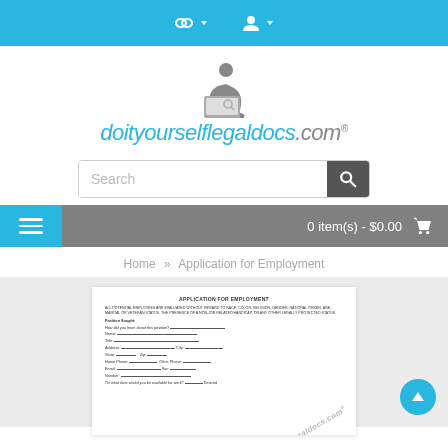Navigation bar with icons
[Figure (logo): doityourselflegal​docs.com logo with person sitting at laptop icon]
[Figure (screenshot): Search bar input field with magnifier button]
[Figure (screenshot): Menu bar with hamburger icon and cart showing 0 item(s) - $0.00]
Home » Application for Employment
[Figure (screenshot): Preview of Application for Employment document form with watermark doityourselflegal​docs.com]